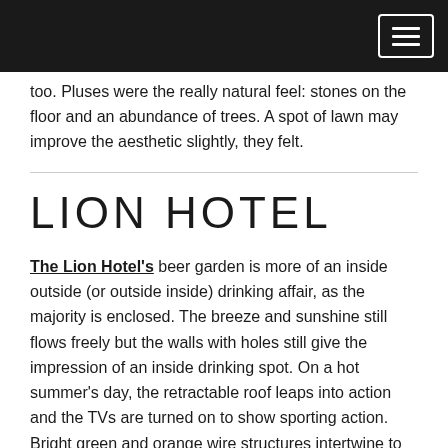too. Pluses were the really natural feel: stones on the floor and an abundance of trees. A spot of lawn may improve the aesthetic slightly, they felt.
LION HOTEL
The Lion Hotel's beer garden is more of an inside outside (or outside inside) drinking affair, as the majority is enclosed. The breeze and sunshine still flows freely but the walls with holes still give the impression of an inside drinking spot. On a hot summer's day, the retractable roof leaps into action and the TVs are turned on to show sporting action. Bright green and orange wire structures intertwine to make up the side wall, stools and a hovering structure that forms part of